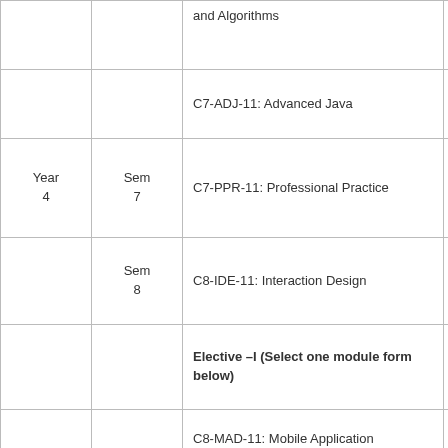| Year | Sem | Module | Credits |
| --- | --- | --- | --- |
|  |  | and Algorithms |  |
|  |  | C7-ADJ-11: Advanced Java | 20 |
| Year 4 | Sem 7 | C7-PPR-11: Professional Practice | 60 |
|  | Sem 8 | C8-IDE-11: Interaction Design | 20 |
|  |  | Elective –I (Select one module form below) |  |
|  |  | C8-MAD-11: Mobile Application Development | 20 |
|  |  | C8-3DD-11: 3D Design | 20 |
|  |  | Elective – 2(Select one |  |